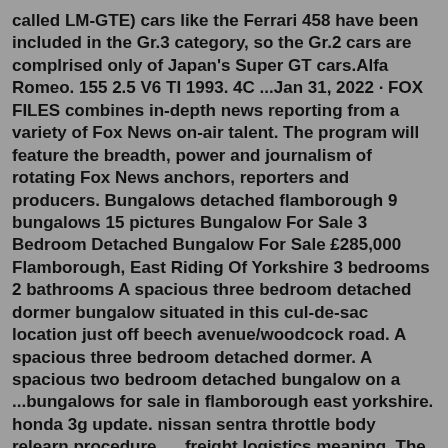called LM-GTE) cars like the Ferrari 458 have been included in the Gr.3 category, so the Gr.2 cars are complrised only of Japan's Super GT cars.Alfa Romeo. 155 2.5 V6 TI 1993. 4C ...Jan 31, 2022 · FOX FILES combines in-depth news reporting from a variety of Fox News on-air talent. The program will feature the breadth, power and journalism of rotating Fox News anchors, reporters and producers. Bungalows detached flamborough 9 bungalows 15 pictures Bungalow For Sale 3 Bedroom Detached Bungalow For Sale £285,000 Flamborough, East Riding Of Yorkshire 3 bedrooms 2 bathrooms A spacious three bedroom detached dormer bungalow situated in this cul-de-sac location just off beech avenue/woodcock road. A spacious three bedroom detached dormer. A spacious two bedroom detached bungalow on a ...bungalows for sale in flamborough east yorkshire. honda 3g update. nissan sentra throttle body relearn procedure. ... freight logistics meaning. The average 1977 Chevrolet Monte Carlofor